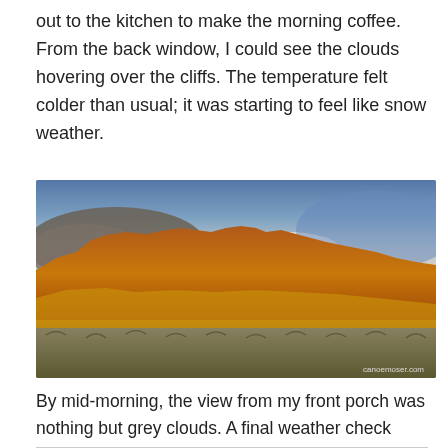out to the kitchen to make the morning coffee. From the back window, I could see the clouds hovering over the cliffs. The temperature felt colder than usual; it was starting to feel like snow weather.
[Figure (photo): Panoramic photo of red rock cliffs and mesas under a dramatic cloudy sky, with golden desert scrubland in the foreground. Clouds hover over the cliff tops. Watermark reads 'canoemoser.com' in bottom right.]
By mid-morning, the view from my front porch was nothing but grey clouds. A final weather check reported snow flurries on the Kaibab Plateau and up to four inches of snow at Jacob Lake. It was official; a White Christmas for Shadow!